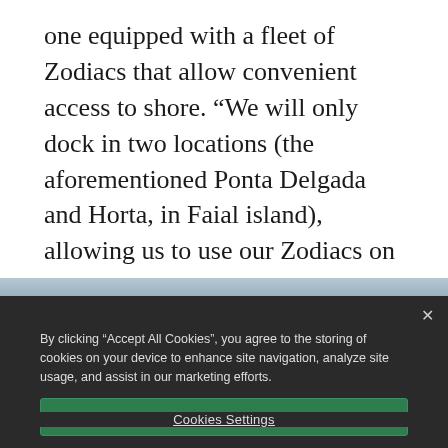one equipped with a fleet of Zodiacs that allow convenient access to shore. “We will only dock in two locations (the aforementioned Ponta Delgada and Horta, in Faial island), allowing us to use our Zodiacs on the other islands to get ashore and explore every nook and cranny,” says Du Plessis.
[Figure (photo): Partially visible blurred photo of a seascape or coastal scene, appearing below the article text.]
By clicking “Accept All Cookies”, you agree to the storing of cookies on your device to enhance site navigation, analyze site usage, and assist in our marketing efforts.
Accept All Cookies
Cookies Settings